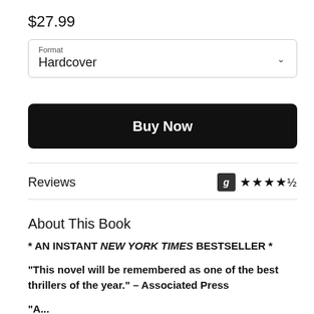$27.99
Format
Hardcover
Buy Now
Reviews
About This Book
* AN INSTANT NEW YORK TIMES BESTSELLER *
"This novel will be remembered as one of the best thrillers of the year." – Associated Press
"A...